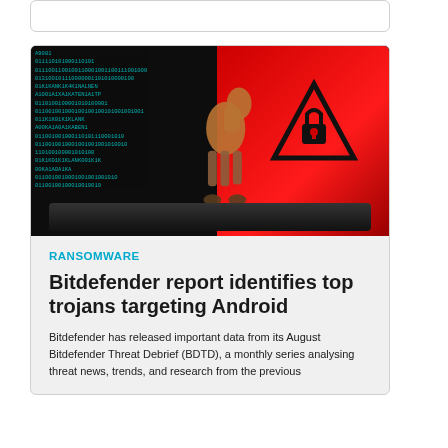[Figure (photo): Trojan horse figurine on a laptop keyboard with red screen showing a warning/padlock icon and binary code overlay in the background]
RANSOMWARE
Bitdefender report identifies top trojans targeting Android
Bitdefender has released important data from its August Bitdefender Threat Debrief (BDTD), a monthly series analysing threat news, trends, and research from the previous